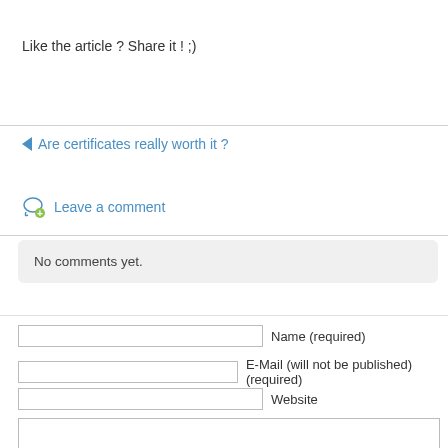Like the article ? Share it ! ;)
Are certificates really worth it ?
Leave a comment
No comments yet.
Name (required)
E-Mail (will not be published) (required)
Website